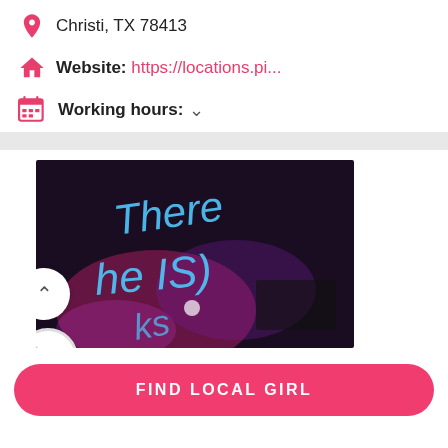Christi, TX 78413
Website: https://locations.pi...
Working hours: ˅
[Figure (photo): Dark photo of a bar or club interior with blue handwritten text 'There Is' visible on a surface, with pink/purple lighting. Has a circular up-arrow button and a 77% badge overlaid.]
FIND LOCAL GIRL